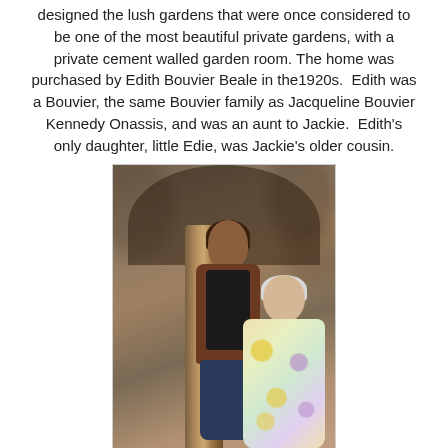designed the lush gardens that were once considered to be one of the most beautiful private gardens, with a private cement walled garden room. The home was purchased by Edith Bouvier Beale in the1920s. Edith was a Bouvier, the same Bouvier family as Jacqueline Bouvier Kennedy Onassis, and was an aunt to Jackie. Edith's only daughter, little Edie, was Jackie's older cousin.
[Figure (photo): Two women walking together outdoors near a stone arch with overgrown vines. One woman has dark hair and wears a brown jacket over a black turtleneck with dark jeans. The other is an elderly woman with white hair wearing a colorful floral-patterned robe.]